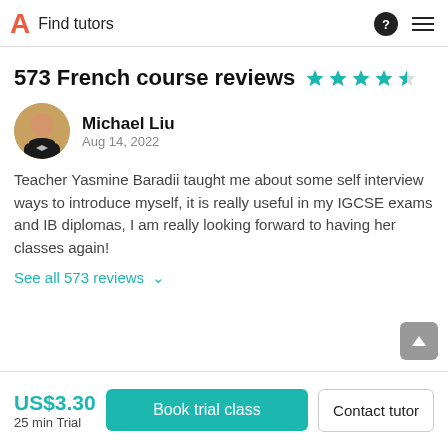A  Find tutors
573 French course reviews ★★★★½
Michael Liu
Aug 14, 2022
Teacher Yasmine Baradii taught me about some self interview ways to introduce myself, it is really useful in my IGCSE exams and IB diplomas, I am really looking forward to having her classes again!
See all 573 reviews ˅
US$3.30
25 min Trial